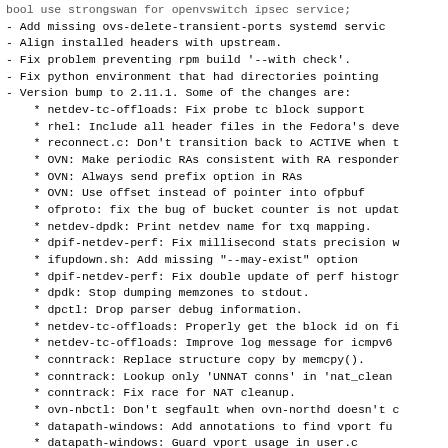bool use strongswan for openvswitch ipsec service;
- Add missing ovs-delete-transient-ports systemd service.
- Align installed headers with upstream.
- Fix problem preventing rpm build '--with check'.
- Fix python environment that had directories pointing
- Version bump to 2.11.1. Some of the changes are:
* netdev-tc-offloads: Fix probe tc block support
* rhel: Include all header files in the Fedora's devel
* reconnect.c: Don't transition back to ACTIVE when t
* OVN: Make periodic RAs consistent with RA responder
* OVN: Always send prefix option in RAs
* OVN: Use offset instead of pointer into ofpbuf
* ofproto: fix the bug of bucket counter is not updated
* netdev-dpdk: Print netdev name for txq mapping.
* dpif-netdev-perf: Fix millisecond stats precision w
* ifupdown.sh: Add missing "--may-exist" option
* dpif-netdev-perf: Fix double update of perf histogr
* dpdk: Stop dumping memzones to stdout.
* dpctl: Drop parser debug information.
* netdev-tc-offloads: Properly get the block id on fi
* netdev-tc-offloads: Improve log message for icmpv6
* conntrack: Replace structure copy by memcpy().
* conntrack: Lookup only 'UNNAT conns' in 'nat_clean
* conntrack: Fix race for NAT cleanup.
* ovn-nbctl: Don't segfault when ovn-northd doesn't c
* datapath-windows: Add annotations to find vport fun
* datapath-windows: Guard vport usage in user.c
* datapath-windows: Fix potential deadlock in event s
* datapath-windows: Fix race condition during port cr
* datapath-windows: Fix nbl cleanup when memory alloc
* netdev-linux: Remove ingress qdiscs before trying to